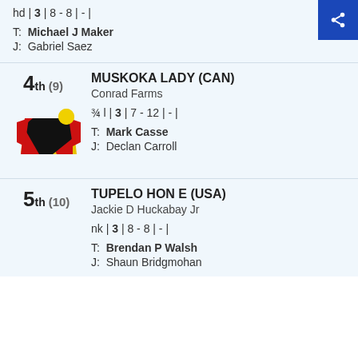hd | 3 | 8 - 8 | - |
T:  Michael J Maker
J:  Gabriel Saez
4th (9)  MUSKOKA LADY (CAN)  Conrad Farms  ¾ l | 3 | 7 - 12 | - |  T: Mark Casse  J: Declan Carroll
5th (10)  TUPELO HON E (USA)  Jackie D Huckabay Jr  nk | 3 | 8 - 8 | - |  T: Brendan P Walsh  J: Shaun Bridgmohan